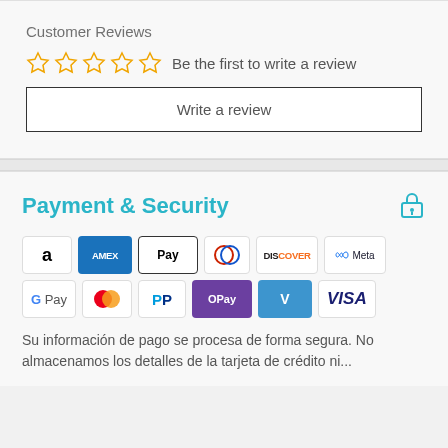Customer Reviews
☆☆☆☆☆ Be the first to write a review
Write a review
Payment & Security
[Figure (logo): Payment method logos: Amazon, Amex, Apple Pay, Diners Club, Discover, Meta Pay, Google Pay, Mastercard, PayPal, OPay, Venmo, Visa]
Su información de pago se procesa de forma segura. No almacenamos los detalles de la tarjeta de crédito ni...